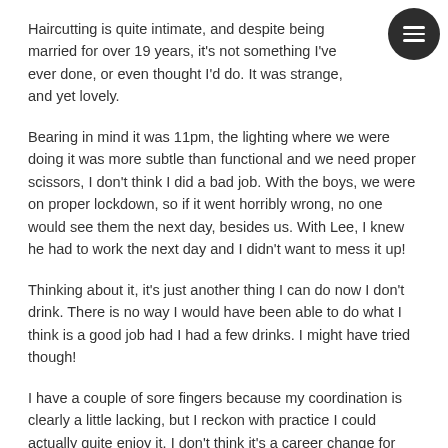Haircutting is quite intimate, and despite being married for over 19 years, it's not something I've ever done, or even thought I'd do. It was strange, and yet lovely.
Bearing in mind it was 11pm, the lighting where we were doing it was more subtle than functional and we need proper scissors, I don't think I did a bad job. With the boys, we were on proper lockdown, so if it went horribly wrong, no one would see them the next day, besides us. With Lee, I knew he had to work the next day and I didn't want to mess it up!
Thinking about it, it's just another thing I can do now I don't drink. There is no way I would have been able to do what I think is a good job had I had a few drinks. I might have tried though!
I have a couple of sore fingers because my coordination is clearly a little lacking, but I reckon with practice I could actually quite enjoy it. I don't think it's a career change for